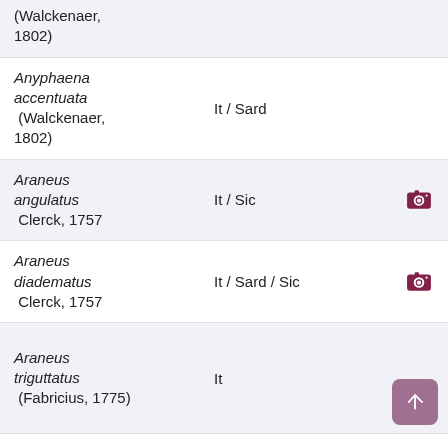(Walckenaer, 1802)
Anyphaena accentuata (Walckenaer, 1802) | It / Sard
Araneus angulatus Clerck, 1757 | It / Sic
Araneus diadematus Clerck, 1757 | It / Sard / Sic
Araneus triguttatus (Fabricius, 1775) | It
Araniella